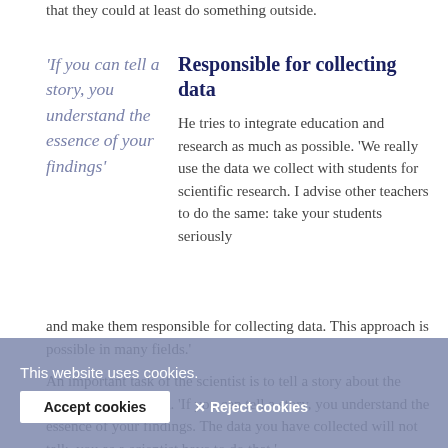that they could at least do something outside.
'If you can tell a story, you understand the essence of your findings'
Responsible for collecting data
He tries to integrate education and research as much as possible. 'We really use the data we collect with students for scientific research. I advise other teachers to do the same: take your students seriously and make them responsible for collecting data. This approach is possible in many fields.'
An important task of the scientist is to tell a story about the world, says Schrama. 'If you can tell a story, you understand the essence of your findings. The data you have collected will not talk, you as a scientist have to do that.'
This website uses cookies.
Accept cookies
✕ Reject cookies